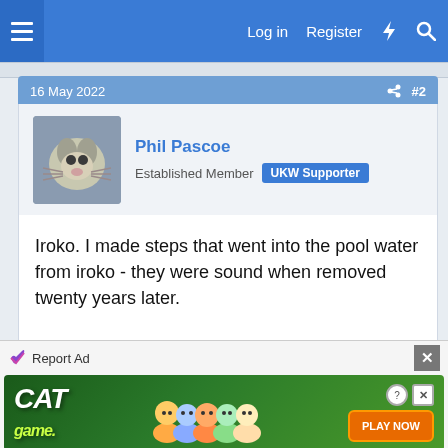Log in  Register
16 May 2022  #2
Phil Pascoe
Established Member  UKW Supporter
Iroko. I made steps that went into the pool water from iroko - they were sound when removed twenty years later.
Reply
16 May 2022  #3
Molynoox
Established Member
Report Ad